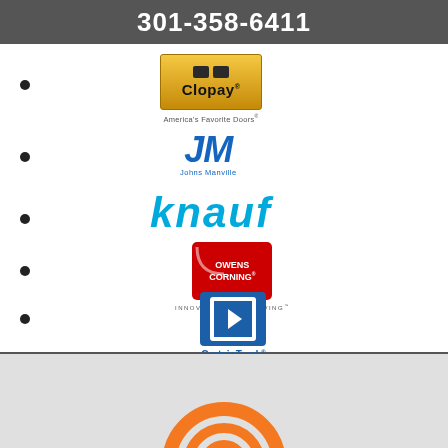301-358-6411
[Figure (logo): Clopay logo - America's Favorite Doors]
[Figure (logo): JM Johns Manville logo]
[Figure (logo): Knauf logo in blue italic text]
[Figure (logo): Owens Corning logo - Innovations for Living]
[Figure (logo): CertainTeed logo - Quality made perfect. Satisfaction guaranteed.]
[Figure (logo): Partial circular logo at bottom of page]